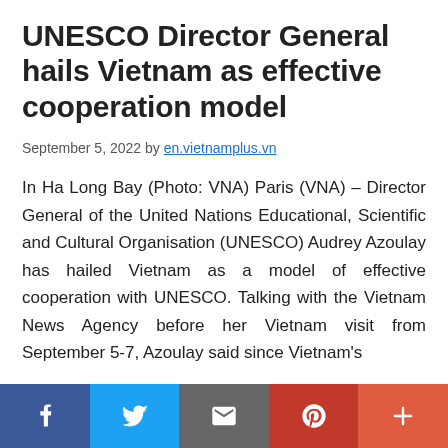UNESCO Director General hails Vietnam as effective cooperation model
September 5, 2022 by en.vietnamplus.vn
In Ha Long Bay (Photo: VNA) Paris (VNA) – Director General of the United Nations Educational, Scientific and Cultural Organisation (UNESCO) Audrey Azoulay has hailed Vietnam as a model of effective cooperation with UNESCO. Talking with the Vietnam News Agency before her Vietnam visit from September 5-7, Azoulay said since Vietnam's